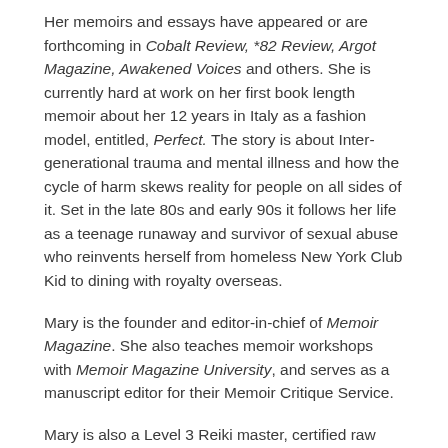Her memoirs and essays have appeared or are forthcoming in Cobalt Review, *82 Review, Argot Magazine, Awakened Voices and others. She is currently hard at work on her first book length memoir about her 12 years in Italy as a fashion model, entitled, Perfect. The story is about Inter-generational trauma and mental illness and how the cycle of harm skews reality for people on all sides of it. Set in the late 80s and early 90s it follows her life as a teenage runaway and survivor of sexual abuse who reinvents herself from homeless New York Club Kid to dining with royalty overseas.
Mary is the founder and editor-in-chief of Memoir Magazine. She also teaches memoir workshops with Memoir Magazine University, and serves as a manuscript editor for their Memoir Critique Service.
Mary is also a Level 3 Reiki master, certified raw vegan chef, Metaphysician, and polyglot, fluent in Italian,